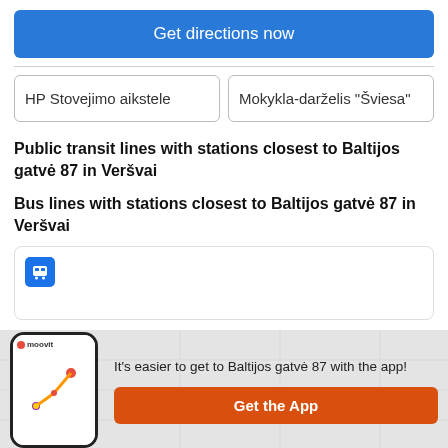Get directions now
HP Stovejimo aikstele
Mokykla-darželis "Šviesa"
Public transit lines with stations closest to Baltijos gatvė 87 in Veršvai
Bus lines with stations closest to Baltijos gatvė 87 in Veršvai
[Figure (screenshot): Moovit app promotional banner with phone graphic, map background, text and orange Get the App button]
It's easier to get to Baltijos gatvė 87 with the app!
Get the App